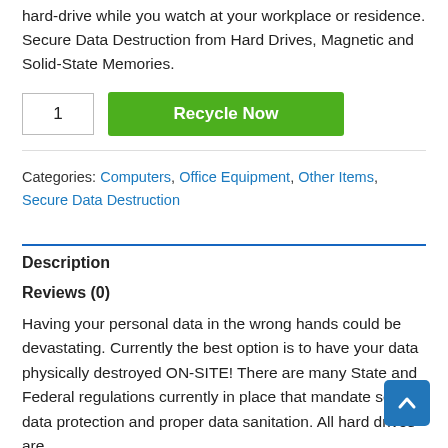hard-drive while you watch at your workplace or residence. Secure Data Destruction from Hard Drives, Magnetic and Solid-State Memories.
1
Recycle Now
Categories: Computers, Office Equipment, Other Items, Secure Data Destruction
Description
Reviews (0)
Having your personal data in the wrong hands could be devastating. Currently the best option is to have your data physically destroyed ON-SITE! There are many State and Federal regulations currently in place that mandate secure data protection and proper data sanitation. All hard drives are